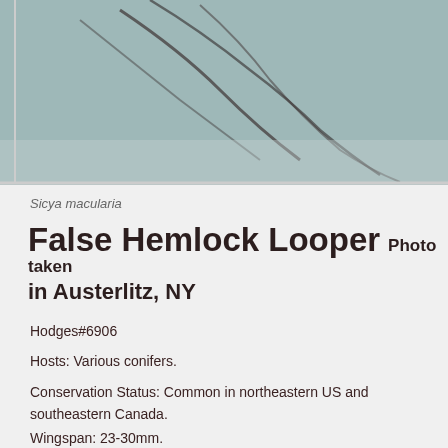[Figure (photo): Close-up photo of a False Hemlock Looper moth on a textured gray-blue fabric or mesh surface, showing wing and body detail with dark markings visible.]
Sicya macularia
False Hemlock Looper  Photo taken in Austerlitz, NY
Hodges#6906
Hosts: Various conifers.
Conservation Status: Common in northeastern US and southeastern Canada.
Wingspan: 23-30mm.